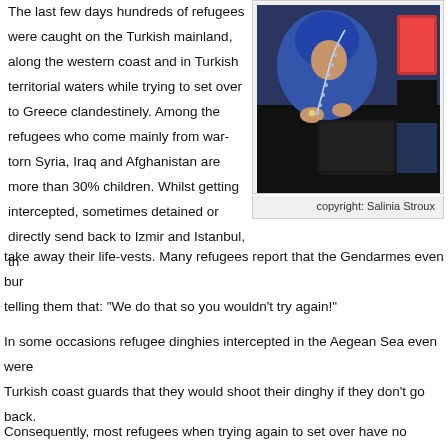The last few days hundreds of refugees were caught on the Turkish mainland, along the western coast and in Turkish territorial waters while trying to set over to Greece clandestinely. Among the refugees who come mainly from war-torn Syria, Iraq and Afghanistan are more than 30% children. Whilst getting intercepted, sometimes detained or directly send back to Izmir and Istanbul, the take away their life-vests. Many refugees report that the Gendarmes even bur telling them that: "We do that so you wouldn't try again!"
[Figure (photo): A woman in a blue hijab holding prayer beads, with dark wet belongings visible nearby]
copyright: Salinia Stroux
In some occasions refugee dinghies intercepted in the Aegean Sea even were Turkish coast guards that they would shoot their dinghy if they don't go back.
Consequently, most refugees when trying again to set over have no money left